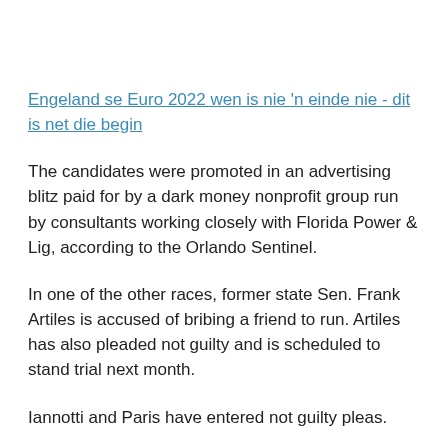Engeland se Euro 2022 wen is nie 'n einde nie - dit is net die begin
The candidates were promoted in an advertising blitz paid for by a dark money nonprofit group run by consultants working closely with Florida Power & Lig, according to the Orlando Sentinel.
In one of the other races, former state Sen. Frank Artiles is accused of bribing a friend to run. Artiles has also pleaded not guilty and is scheduled to stand trial next month.
Iannotti and Paris have entered not guilty pleas.
Hierdie inskrywing is geplaas in bel en gemerk candidate,